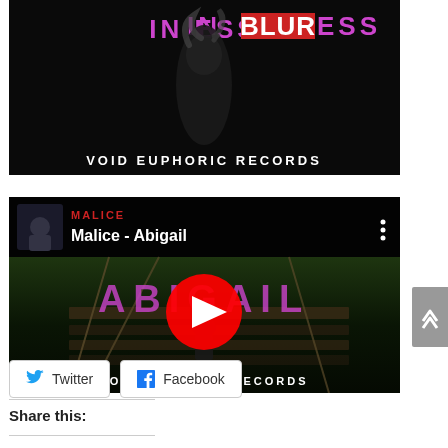[Figure (screenshot): Partial YouTube thumbnail showing dark background with pink/purple neon text 'IN DARKNESS' with red highlight box, smoke/figure image in center, and 'VOID EUPHORIC RECORDS' white text at bottom]
[Figure (screenshot): YouTube video embed for 'Malice - Abigail' showing channel art with MALICE in red text, thumbnail of person on bridge scene with purple 'ABIGAIL' text overlay, YouTube play button in center, VOID EUPHORIC RECORDS at bottom]
Share this:
[Figure (other): Twitter share button with bird icon]
[Figure (other): Facebook share button with f icon]